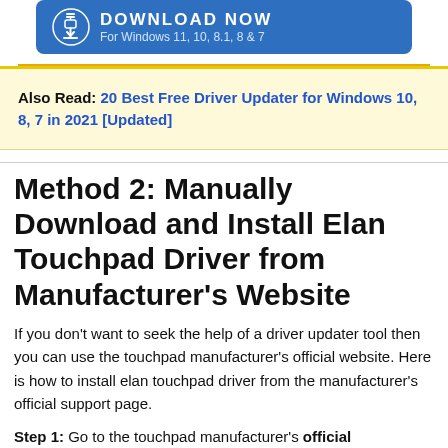[Figure (other): Blue download button banner with gear/download icon and text 'DOWNLOAD NOW For Windows 11, 10, 8.1, 8 & 7']
Also Read: 20 Best Free Driver Updater for Windows 10, 8, 7 in 2021 [Updated]
Method 2: Manually Download and Install Elan Touchpad Driver from Manufacturer's Website
If you don't want to seek the help of a driver updater tool then you can use the touchpad manufacturer's official website. Here is how to install elan touchpad driver from the manufacturer's official support page.
Step 1: Go to the touchpad manufacturer's official